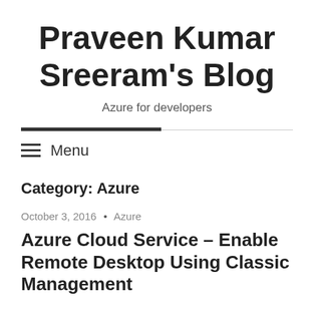Praveen Kumar Sreeram's Blog
Azure for developers
Menu
Category: Azure
October 3, 2016 • Azure
Azure Cloud Service – Enable Remote Desktop Using Classic Management